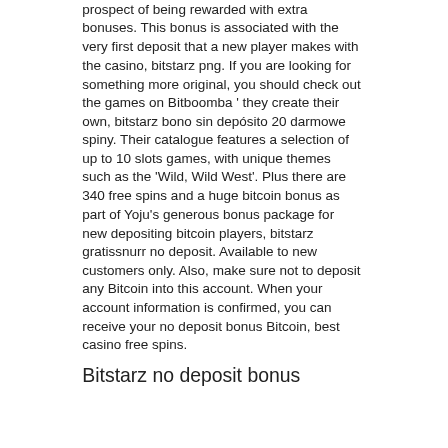prospect of being rewarded with extra bonuses. This bonus is associated with the very first deposit that a new player makes with the casino, bitstarz png. If you are looking for something more original, you should check out the games on Bitboomba ' they create their own, bitstarz bono sin depósito 20 darmowe spiny. Their catalogue features a selection of up to 10 slots games, with unique themes such as the 'Wild, Wild West'. Plus there are 340 free spins and a huge bitcoin bonus as part of Yoju's generous bonus package for new depositing bitcoin players, bitstarz gratissnurr no deposit. Available to new customers only. Also, make sure not to deposit any Bitcoin into this account. When your account information is confirmed, you can receive your no deposit bonus Bitcoin, best casino free spins.
Bitstarz no deposit bonus